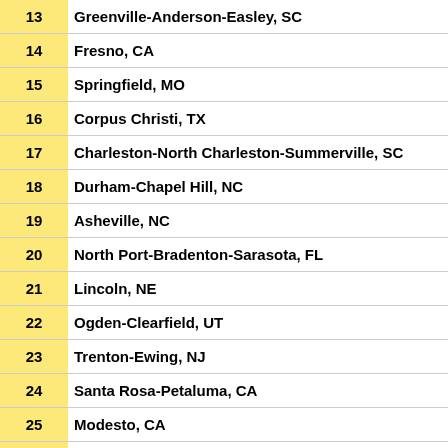| Rank | Metropolitan Area |
| --- | --- |
| 13 | Greenville-Anderson-Easley, SC |
| 14 | Fresno, CA |
| 15 | Springfield, MO |
| 16 | Corpus Christi, TX |
| 17 | Charleston-North Charleston-Summerville, SC |
| 18 | Durham-Chapel Hill, NC |
| 19 | Asheville, NC |
| 20 | North Port-Bradenton-Sarasota, FL |
| 21 | Lincoln, NE |
| 22 | Ogden-Clearfield, UT |
| 23 | Trenton-Ewing, NJ |
| 24 | Santa Rosa-Petaluma, CA |
| 25 | Modesto, CA |
| 26 | Madison, WI |
| 27 | El Paso, TX |
| 28 | Framingham, MA  NECTA Division |
| 29 | Ann Arbor, MI |
| 30 | Stockton, CA |
| 31 | Lake County-Kenosha County, IL-WI Metropolitan Division |
| 32 | Tulsa, OK |
| 33 | Reno-Sparks, NV |
| 34 | Kansas City, KS |